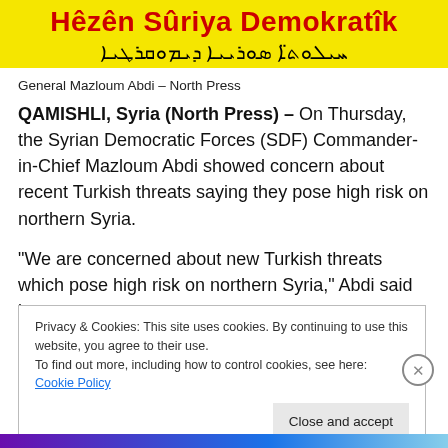[Figure (logo): Header banner with yellow background showing 'Hêzên Sûriya Demokratîk' in large red bold text and Arabic/Syriac script below in black]
General Mazloum Abdi – North Press
QAMISHLI, Syria (North Press) – On Thursday, the Syrian Democratic Forces (SDF) Commander-in-Chief Mazloum Abdi showed concern about recent Turkish threats saying they pose high risk on northern Syria.
“We are concerned about new Turkish threats which pose high risk on northern Syria,” Abdi said in a tweet.
Privacy & Cookies: This site uses cookies. By continuing to use this website, you agree to their use.
To find out more, including how to control cookies, see here: Cookie Policy